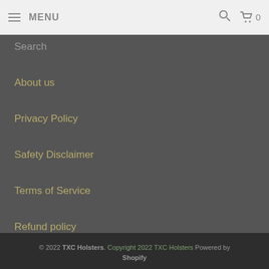MENU  🔍  🛒 0
Search
About us
Privacy Policy
Safety Disclaimer
Terms of Service
Refund policy
© 2022 TXC Holsters. Copyright 2022 TXC Holsters Powered by Shopify
[Figure (other): Payment method icons: AMEX, Apple Pay, Diners Club, Discover, Meta Pay, Google Pay, Mastercard]